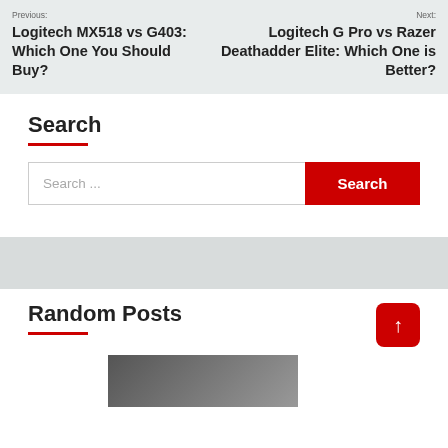Previous: Logitech MX518 vs G403: Which One You Should Buy?  |  Next: Logitech G Pro vs Razer Deathadder Elite: Which One is Better?
Search
Search ...
Random Posts